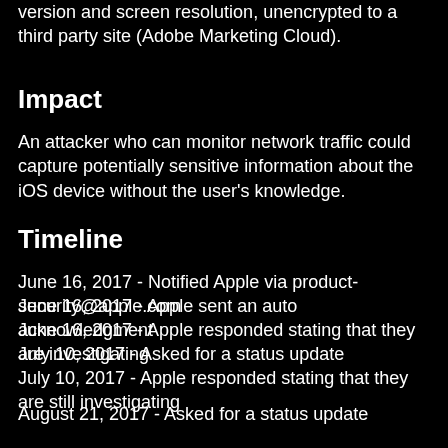version and screen resolution, unencrypted to a third party site (Adobe Marketing Cloud).
Impact
An attacker who can monitor network traffic could capture potentially sensitive information about the iOS device without the user's knowledge.
Timeline
June 16, 2017 - Notified Apple via product-security@apple.com
June 16, 2017 - Apple sent an auto acknowledgment
June 16, 2017 - Apple responded stating that they are investigating
July 10, 2017 - Asked for a status update
July 10, 2017 - Apple responded stating that they are still investigating
August 21, 2017 - Asked for a status update
August 21, 2017 - Apple responded stating that they are still investigating
August 30, 2017 - Apple released version 1.2 which sends the analytics data over an encrypted connection
October 17, 2017 - Apple published a security advisory to